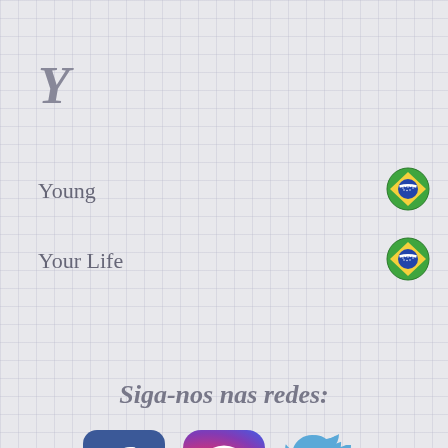Y
Young 🇧🇷
Your Life 🇧🇷
Siga-nos nas redes:
[Figure (logo): Facebook, Instagram, and Twitter social media icons]